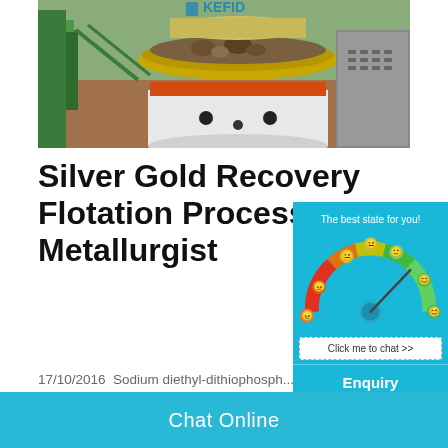[Figure (photo): Industrial flotation machine / cone crusher equipment with KEFID branding, green metal frame, white and red drum, photographed outdoors with excavated ground visible]
Silver Gold Recovery Flotation Process - 911 Metallurgist
17/10/2016  Sodium diethyl-dithiophosph... the most successful promoters for the flo... gold, while their Reagent "301", which...
[Figure (infographic): Sentiment gauge widget on teal background showing a speedometer with emoji faces ranging from angry (red) to happy (green), needle pointing toward green side. Text: 'The best state for you!' and 'Click me to chat >>']
Enquiry
cywaitml@gmail.com
Chat Online